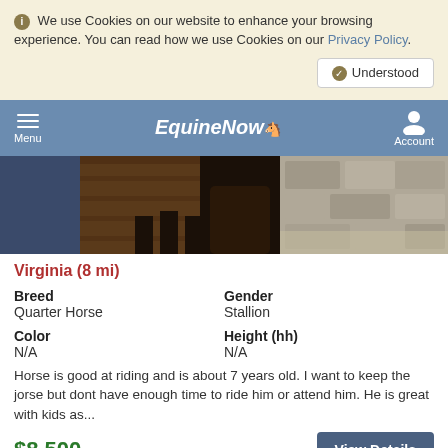We use Cookies on our website to enhance your browsing experience. You can read how we use Cookies on our Privacy Policy.
Understood
EquineNow — Menu | Account
[Figure (photo): Partial photo of a horse in a stable/barn setting, showing legs and barn wood and stone walls.]
Virginia (8 mi)
| Breed | Gender |
| --- | --- |
| Quarter Horse | Stallion |
| Color | Height (hh) |
| --- | --- |
| N/A | N/A |
Horse is good at riding and is about 7 years old. I want to keep the jorse but dont have enough time to ride him or attend him. He is great with kids as...
$8,500
View Details